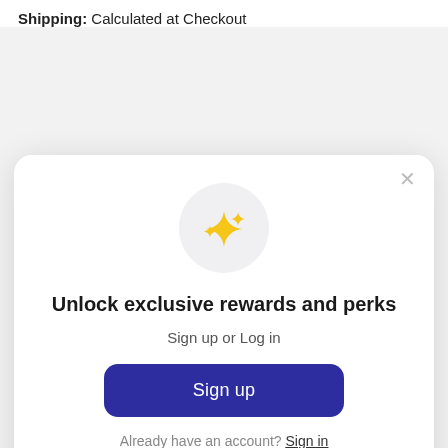Shipping: Calculated at Checkout
[Figure (illustration): Modal dialog with sparkle emoji icon, unlock exclusive rewards message, sign up button, and sign in link]
Unlock exclusive rewards and perks
Sign up or Log in
Sign up
Already have an account? Sign in